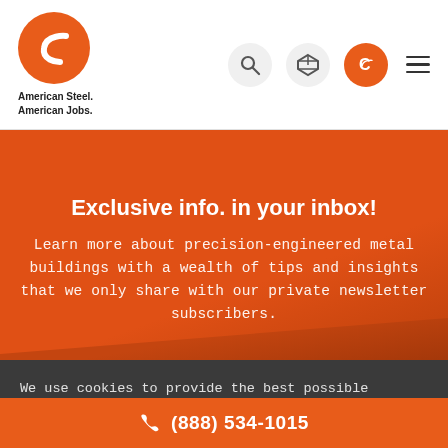[Figure (logo): American Steel Systems logo - orange circle with white C-shaped bracket icon, text 'American Steel. American Jobs.' below]
Exclusive info. in your inbox!
Learn more about precision-engineered metal buildings with a wealth of tips and insights that we only share with our private newsletter subscribers.
We use cookies to provide the best possible solution to you, to personalize content and ads, to show you the best products or services you're looking for. For more details visit Privacy Policy.
OK, THANKS
(888) 534-1015